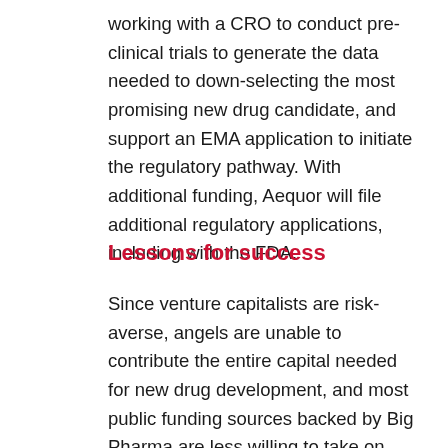working with a CRO to conduct pre-clinical trials to generate the data needed to down-selecting the most promising new drug candidate, and support an EMA application to initiate the regulatory pathway. With additional funding, Aequor will file additional regulatory applications, including with the FDA.
Lessons for success
Since venture capitalists are risk-averse, angels are unable to contribute the entire capital needed for new drug development, and most public funding sources backed by Big Pharma are less willing to take on disruptive technologies, one full-time person has to be engaged to raise cash: apply for